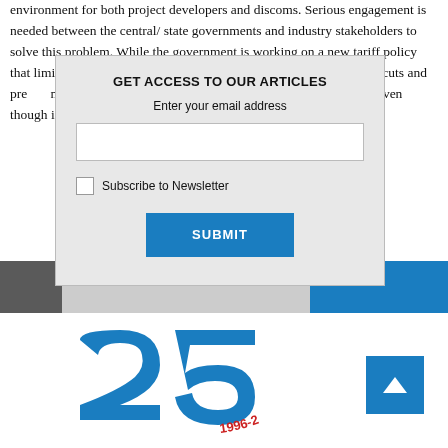environment for both project developers and discoms. Serious engagement is needed between the central/ state governments and industry stakeholders to solve this problem. While the government is working on a new tariff policy that limits cross-subsidies, penalises discoms for unnecessary power cuts and prepares the ground for consumers, it must also address issues across third-party PPA markets, even though in select cases its actual potential...
[Figure (screenshot): Modal dialog overlay with title 'GET ACCESS TO OUR ARTICLES', email input field, Subscribe to Newsletter checkbox, and a blue SUBMIT button.]
[Figure (logo): 25th anniversary logo with large blue '25' numeral and red curved text '1996-2' around it.]